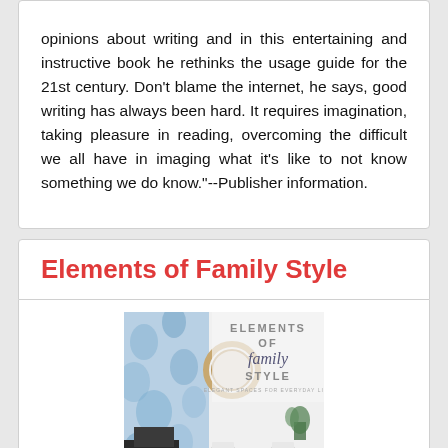opinions about writing and in this entertaining and instructive book he rethinks the usage guide for the 21st century. Don't blame the internet, he says, good writing has always been hard. It requires imagination, taking pleasure in reading, overcoming the difficult we all have in imaging what it's like to not know something we do know."--Publisher information.
Elements of Family Style
[Figure (photo): Book cover of 'Elements of Family Style' showing a blue and white floral wallpaper background, a round mirror, and interior design elements including a white table and chairs with text reading ELEMENTS OF family STYLE]